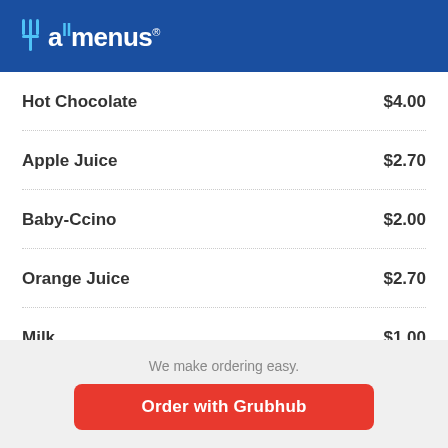allmenus
Hot Chocolate    $4.00
Apple Juice    $2.70
Baby-Ccino    $2.00
Orange Juice    $2.70
Milk    $1.00
We make ordering easy.
Order with Grubhub